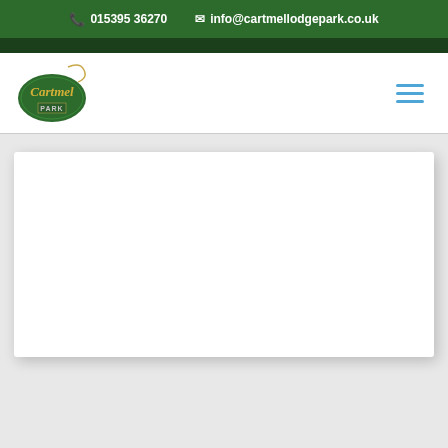015395 36270   info@cartmellodgepark.co.uk
[Figure (logo): Cartmel Park logo — green oval key fob with gold cursive text 'Cartmel' and 'PARK' label]
[Figure (other): Hamburger menu icon with three horizontal blue lines]
[Figure (other): Large white content card with drop shadow on grey background]